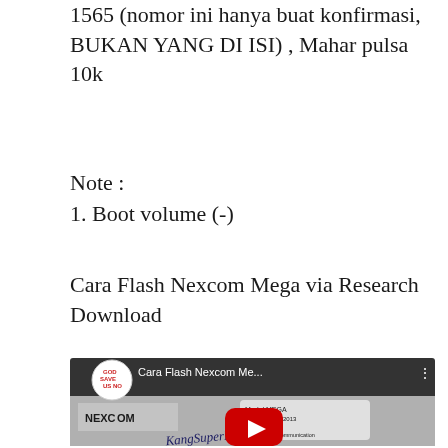1565 (nomor ini hanya buat konfirmasi, BUKAN YANG DI ISI) , Mahar pulsa 10k
Note :
1. Boot volume (-)
Cara Flash Nexcom Mega via Research Download
[Figure (screenshot): YouTube video thumbnail showing 'Cara Flash Nexcom Me...' with a Nexcom Mega device label and KangSuper watermark, with YouTube play button overlay.]